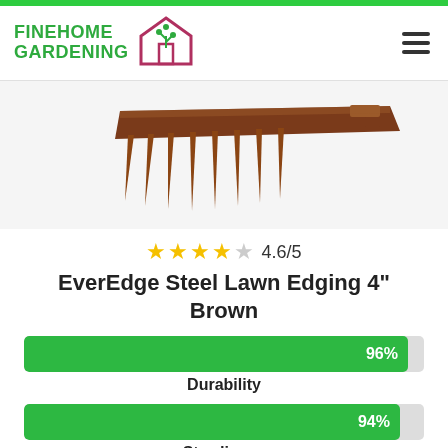Fine Home Gardening
[Figure (photo): Brown steel lawn edging product photo showing metal edging strip with spikes, brown color, viewed from above at an angle]
4.6/5
EverEdge Steel Lawn Edging 4" Brown
[Figure (bar-chart): Product ratings]